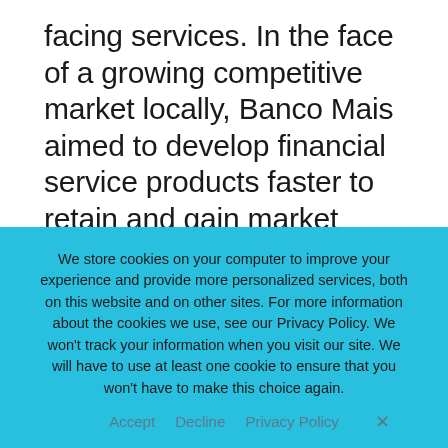facing services. In the face of a growing competitive market locally, Banco Mais aimed to develop financial service products faster to retain and gain market share. Banco Mais implemented IBM Business Process Manager on Cloud service and was able to start projects faster and deploy process application solutions without the need to build the IT infrastructure. By turning to this IBM Cloud solution, they developed, tested, ran and monitored their
We store cookies on your computer to improve your experience and provide more personalized services, both on this website and on other sites. For more information about the cookies we use, see our Privacy Policy. We won't track your information when you visit our site. We will have to use at least one cookie to ensure that you won't have to make this choice again.
Accept   Decline   Privacy Policy